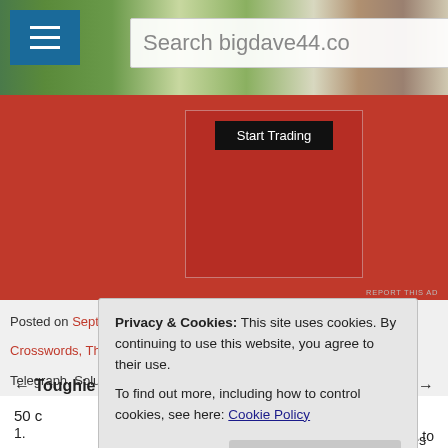[Figure (screenshot): Website header with hamburger menu icon (blue background), countryside photo banner, and search box reading 'Search bigdave44.co']
[Figure (photo): Red advertisement area with dark button labeled 'Start Trading' and inner bordered box. REPORT THIS AD text at bottom right.]
Posted on September 8, 2011 ✪ Posted in Crosswords, DT Cryptic Crosswords, Thursday ✪ Tagged 26652, Answers, Crossword, Daily Telegraph, Solutions, Telegraph ✪
← Toughie 628   Toughie 629 →
50 c
1.
[Figure (screenshot): Cookie consent modal overlay: 'Privacy & Cookies: This site uses cookies. By continuing to use this website, you agree to their use. To find out more, including how to control cookies, see here: Cookie Policy' with a 'Close and accept' button.]
to er.
Loved the hidden clues in 7 and 27 but favourites were 1 and 15.